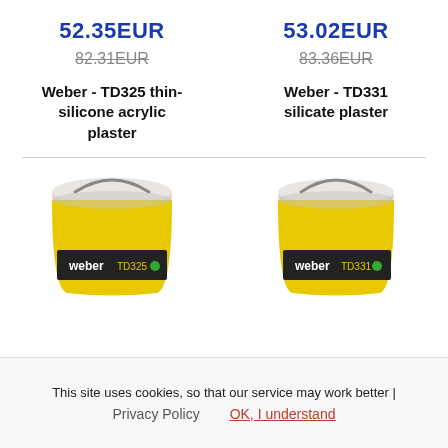52.35EUR
53.02EUR
82.31EUR
83.36EUR
Weber - TD325 thin-silicone acrylic plaster
Weber - TD331 silicate plaster
[Figure (photo): Yellow bucket of Weber TD325 thin-silicone acrylic plaster with white lid]
[Figure (photo): Yellow bucket of Weber TD331 silicate plaster with white lid]
This site uses cookies, so that our service may work better |
Privacy Policy
OK, I understand